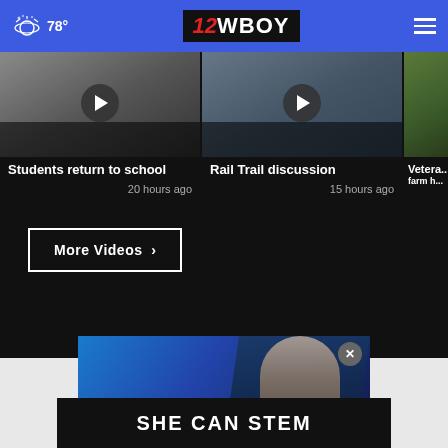78° — 12WBOY — Menu
[Figure (screenshot): Video thumbnail: Students return to school, 20 hours ago]
[Figure (screenshot): Video thumbnail: Rail Trail discussion, 15 hours ago]
[Figure (screenshot): Video thumbnail: Veteran farm (partial, cropped)]
Students return to school
20 hours ago
Rail Trail discussion
15 hours ago
Vetera... farm h...
More Videos ›
[Figure (photo): Promo image of Chris (news anchor) with blue studio background, CHRIS text overlay]
SHE CAN STEM